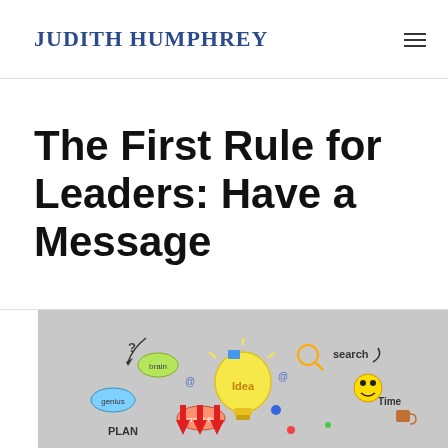JUDITH HUMPHREY
The First Rule for Leaders: Have a Message
[Figure (illustration): Colorful hand-drawn style illustration of a glowing light bulb in the center surrounded by doodle icons and words including 'brain', 'creativity', 'genius', 'PLAN', 'search', 'Time', 'Idea', with arrows, question marks, @ symbols, and various doodles on a light gray background.]